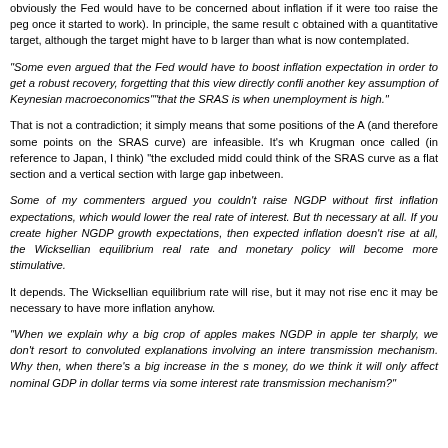obviously the Fed would have to be concerned about inflation if it were too raise the peg once it started to work). In principle, the same result obtained with a quantitative target, although the target might have to b larger than what is now contemplated.
“Some even argued that the Fed would have to boost inflation expectation in order to get a robust recovery, forgetting that this view directly confli another key assumption of Keynesian macroeconomics””that the SRAS is when unemployment is high.”
That is not a contradiction; it simply means that some positions of the A (and therefore some points on the SRAS curve) are infeasible. It’s wh Krugman once called (in reference to Japan, I think) “the excluded midd could think of the SRAS curve as a flat section and a vertical section with large gap inbetween.
Some of my commenters argued you couldn’t raise NGDP without first inflation expectations, which would lower the real rate of interest. But th necessary at all. If you create higher NGDP growth expectations, then expected inflation doesn’t rise at all, the Wicksellian equilibrium real rate and monetary policy will become more stimulative.
It depends. The Wicksellian equilibrium rate will rise, but it may not rise eno it may be necessary to have more inflation anyhow.
“When we explain why a big crop of apples makes NGDP in apple ter sharply, we don’t resort to convoluted explanations involving an intere transmission mechanism. Why then, when there’s a big increase in the s money, do we think it will only affect nominal GDP in dollar terms via some interest rate transmission mechanism?”